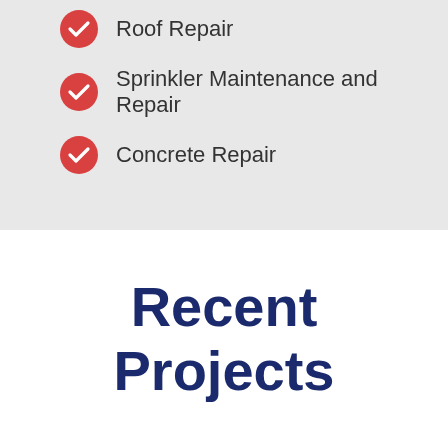Roof Repair
Sprinkler Maintenance and Repair
Concrete Repair
Recent Projects